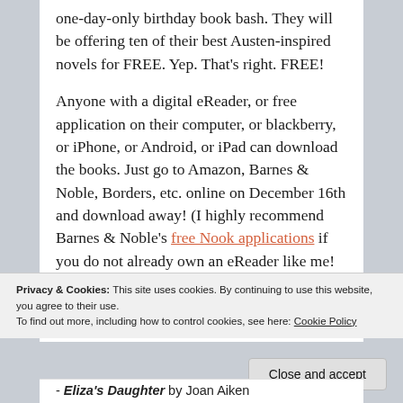one-day-only birthday book bash. They will be offering ten of their best Austen-inspired novels for FREE. Yep. That's right. FREE!
Anyone with a digital eReader, or free application on their computer, or blackberry, or iPhone, or Android, or iPad can download the books. Just go to Amazon, Barnes & Noble, Borders, etc. online on December 16th and download away! (I highly recommend Barnes & Noble's free Nook applications if you do not already own an eReader like me! You can read the eBooks on five different electronic devices )
Privacy & Cookies: This site uses cookies. By continuing to use this website, you agree to their use. To find out more, including how to control cookies, see here: Cookie Policy
Close and accept
- Eliza's Daughter by Joan Aiken